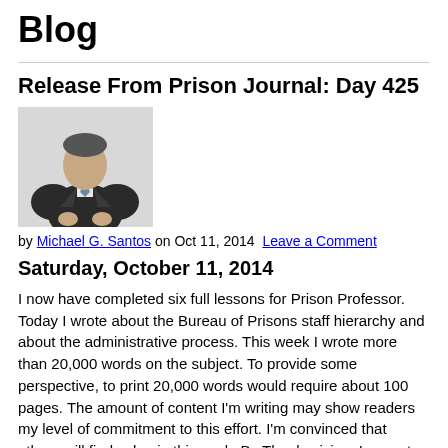Blog
Release From Prison Journal: Day 425
[Figure (photo): Headshot photo of Michael G. Santos, a man in a dark suit gesturing with hands]
by Michael G. Santos on Oct 11, 2014 Leave a Comment
Saturday, October 11, 2014
I now have completed six full lessons for Prison Professor. Today I wrote about the Bureau of Prisons staff hierarchy and about the administrative process. This week I wrote more than 20,000 words on the subject. To provide some perspective, to print 20,000 words would require about 100 pages. The amount of content I'm writing may show readers my level of commitment to this effort. I'm convinced that others will find value in this work. By Thanksgiving, I expect that I will have written the first full course